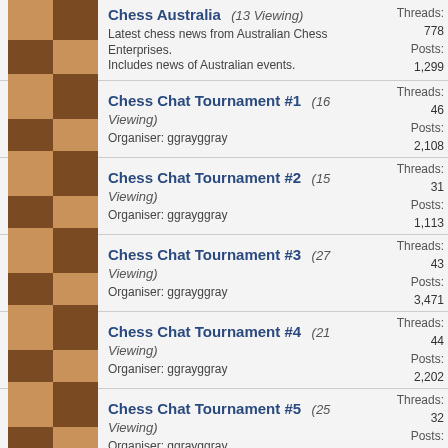Chess Australia (13 Viewing) - Latest chess news from Australian Chess Enterprises. Includes news of Australian events. Threads: 778 Posts: 1,299
Chess Chat Tournament #1 (16 Viewing) - Organiser: ggrayggray - Threads: 46 Posts: 2,108
Chess Chat Tournament #2 (15 Viewing) - Organiser: ggrayggray - Threads: 31 Posts: 1,113
Chess Chat Tournament #3 (27 Viewing) - Organiser: ggrayggray - Threads: 43 Posts: 3,471
Chess Chat Tournament #4 (21 Viewing) - Organiser: ggrayggray - Threads: 44 Posts: 2,202
Chess Chat Tournament #5 (25 Viewing) - Organiser: ggrayggray - Threads: 32 Posts: 2,472
Chess Chat Tournament #6 (15 Viewing) - Organiser: ggrayggray - Threads: 44 Posts: 1,136